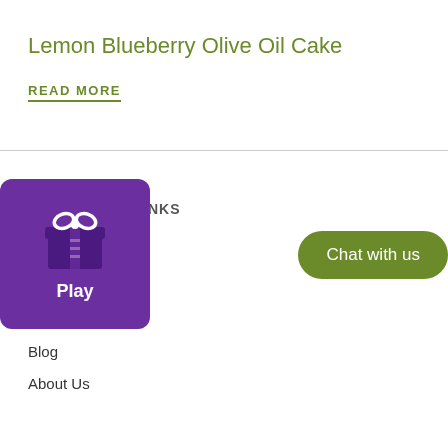Lemon Blueberry Olive Oil Cake
READ MORE
[Figure (other): Purple Play widget with gift/present icon and Play label]
NKS
[Figure (other): Green rounded Chat with us button]
Blog
About Us